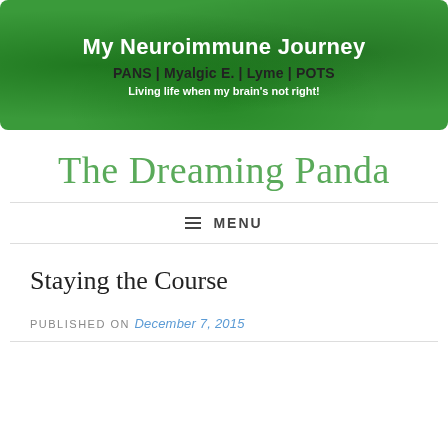[Figure (illustration): Green brain-textured banner image for the blog 'My Neuroimmune Journey' with subtitle 'PANS | Myalgic E. | Lyme | POTS' and tagline 'Living life when my brain's not right!']
The Dreaming Panda
MENU
Staying the Course
PUBLISHED ON December 7, 2015